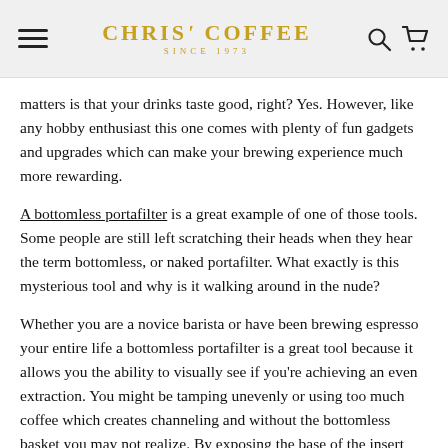Chris' Coffee Since 1973
matters is that your drinks taste good, right? Yes. However, like any hobby enthusiast this one comes with plenty of fun gadgets and upgrades which can make your brewing experience much more rewarding.
A bottomless portafilter is a great example of one of those tools. Some people are still left scratching their heads when they hear the term bottomless, or naked portafilter. What exactly is this mysterious tool and why is it walking around in the nude?
Whether you are a novice barista or have been brewing espresso your entire life a bottomless portafilter is a great tool because it allows you the ability to visually see if you're achieving an even extraction. You might be tamping unevenly or using too much coffee which creates channeling and without the bottomless basket you may not realize. By exposing the base of the insert basket any of these variables